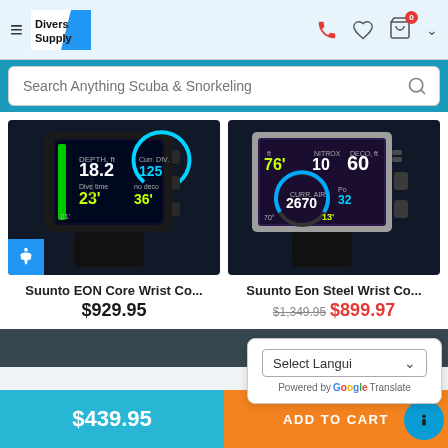[Figure (screenshot): Divers Supply website header with logo, hamburger menu, phone icon, heart icon, and cart icon with badge showing 0]
[Figure (screenshot): Search bar with placeholder text 'Search Anything Scuba & Snorkeling' and a search icon]
[Figure (photo): Suunto EON Core Wrist Computer dive computer product photo]
Suunto EON Core Wrist Co...
$929.95
[Figure (photo): Suunto Eon Steel Wrist Computer dive computer product photo]
Suunto Eon Steel Wrist Co...
$1,349.95 $899.97
[Figure (screenshot): Language selector popup showing 'Select Language' dropdown and 'Powered by Google Translate']
$439.95
ADD TO CART